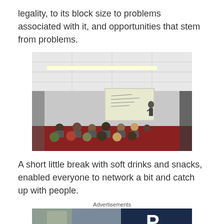legality, to its block size to problems associated with it, and opportunities that stem from problems.
[Figure (photo): Lecture room with audience seated in chairs facing a presenter at a projection screen, red carpet flooring, overhead lighting.]
A short little break with soft drinks and snacks, enabled everyone to network a bit and catch up with people.
Advertisements
[Figure (photo): Advertisement banner, partially visible, showing a blurred image on the left and a dark blue panel with a white letter P on the right.]